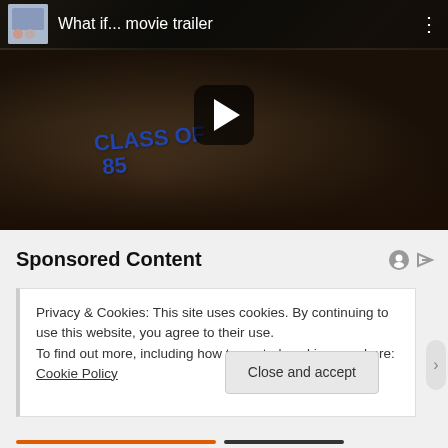[Figure (screenshot): YouTube-style video thumbnail showing a man in a 'Class of 85' t-shirt, with top bar showing 'What if... movie trailer' title and a play button overlay]
Sponsored Content
Privacy & Cookies: This site uses cookies. By continuing to use this website, you agree to their use.
To find out more, including how to control cookies, see here: Cookie Policy
Close and accept